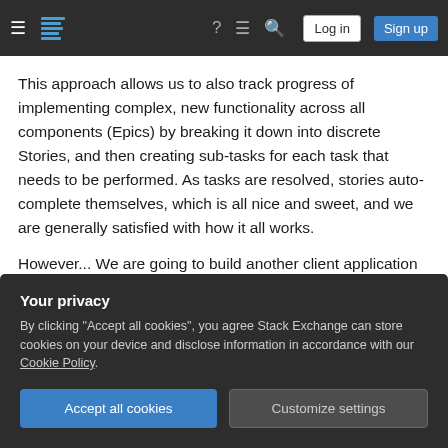Stack Exchange navigation bar with hamburger menu, logo, help, chat, search icons, Log in and Sign up buttons
This approach allows us to also track progress of implementing complex, new functionality across all components (Epics) by breaking it down into discrete Stories, and then creating sub-tasks for each task that needs to be performed. As tasks are resolved, stories auto-complete themselves, which is all nice and sweet, and we are generally satisfied with how it all works.
However... We are going to build another client application for a different platform (part of the same
Your privacy
By clicking "Accept all cookies", you agree Stack Exchange can store cookies on your device and disclose information in accordance with our Cookie Policy.
Accept all cookies
Customize settings